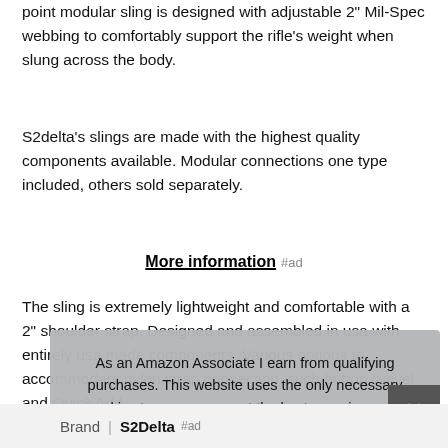point modular sling is designed with adjustable 2" Mil-Spec webbing to comfortably support the rifle's weight when slung across the body.
S2delta's slings are made with the highest quality components available. Modular connections one type included, others sold separately.
More information #ad
The sling is extremely lightweight and comfortable with a 2" shoulder strap. Designed and assembled in usa with entirely usa made components. Various options to accommodate nylon strap connection, such button swivel and Quick Add. This [partially obscured] add [partially obscured]
As an Amazon Associate I earn from qualifying purchases. This website uses the only necessary cookies to ensure you get the best experience on our website. More information
| Brand | Value |
| --- | --- |
| S2Delta |  |